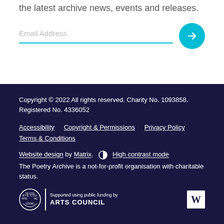the latest archive news, events and releases.
Email Address
Copyright © 2022 All rights reserved. Charity No. 1093858. Registered No. 4336052
Accessibility   Copyright & Permissions   Privacy Policy   Terms & Conditions
Website design by Matrix.  ◑ High contrast mode
The Poetry Archive is a not-for-profit organisation with charitable status.
[Figure (logo): Arts Council England logo with circle emblem, 'Supported using public funding by ARTS COUNCIL' text, divider bar, and W logo square]